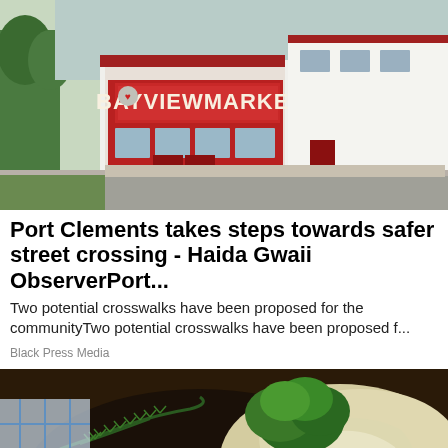[Figure (photo): Exterior of Bayview Market, a white building with red trim and signage, on a street in Port Clements, Haida Gwaii. Green trees visible in background.]
Port Clements takes steps towards safer street crossing - Haida Gwaii ObserverPort...
Two potential crosswalks have been proposed for the communityTwo potential crosswalks have been proposed f...
Black Press Media
[Figure (photo): Close-up photo of cooked sausages in a pan with sauerkraut, rosemary sprigs, and fresh parsley garnish. A dark circular scroll-up button is visible in the lower right.]